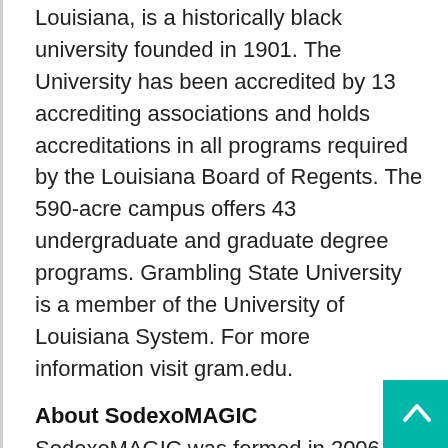Louisiana, is a historically black university founded in 1901. The University has been accredited by 13 accrediting associations and holds accreditations in all programs required by the Louisiana Board of Regents. The 590-acre campus offers 43 undergraduate and graduate degree programs. Grambling State University is a member of the University of Louisiana System. For more information visit gram.edu.
About SodexoMAGIC
SodexoMAGIC was formed in 2006 through a joint venture between Magic Food Provisions (MFP), which is owned by NBA all-star Earvin “Magic” Johnson and Sodexo to provide food and facilities management services to businesses, hospitals, schools and universities. SodexoMAGIC was founded with the purpose of...